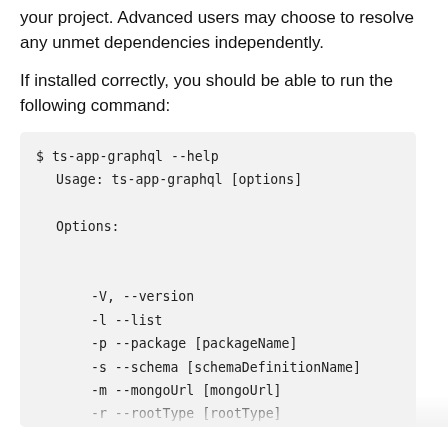your project. Advanced users may choose to resolve any unmet dependencies independently.
If installed correctly, you should be able to run the following command:
$ ts-app-graphql --help
  Usage: ts-app-graphql [options]

  Options:

    -V, --version
    -l --list
    -p --package [packageName]
    -s --schema [schemaDefinitionName]
    -m --mongoUrl [mongoUrl]
    -r --rootType [rootType]